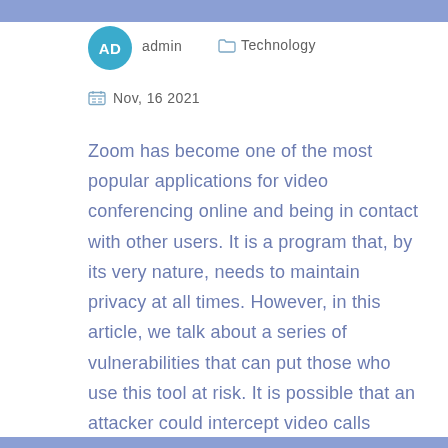AD  admin   Technology
Nov, 16 2021
Zoom has become one of the most popular applications for video conferencing online and being in contact with other users. It is a program that, by its very nature, needs to maintain privacy at all times. However, in this article, we talk about a series of vulnerabilities that can put those who use this tool at risk. It is possible that an attacker could intercept video calls